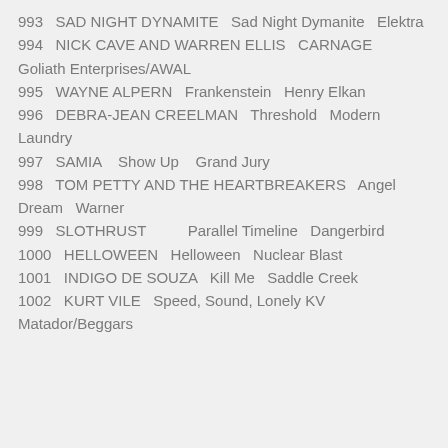993   SAD NIGHT DYNAMITE   Sad Night Dymanite   Elektra
994   NICK CAVE AND WARREN ELLIS   CARNAGE   Goliath Enterprises/AWAL
995   WAYNE ALPERN   Frankenstein   Henry Elkan
996   DEBRA-JEAN CREELMAN   Threshold   Modern Laundry
997   SAMIA   Show Up   Grand Jury
998   TOM PETTY AND THE HEARTBREAKERS   Angel Dream   Warner
999   SLOTHRUST        Parallel Timeline   Dangerbird
1000   HELLOWEEN   Helloween   Nuclear Blast
1001   INDIGO DE SOUZA   Kill Me   Saddle Creek
1002   KURT VILE   Speed, Sound, Lonely KV   Matador/Beggars